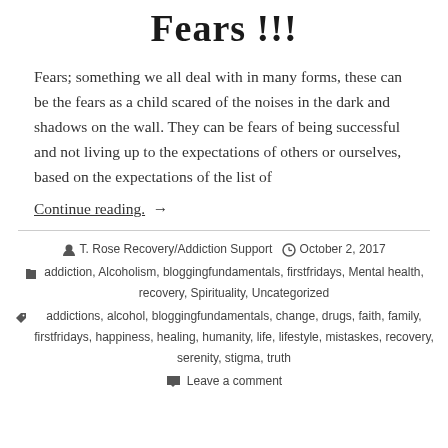Fears !!!
Fears; something we all deal with in many forms, these can be the fears as a child scared of the noises in the dark and shadows on the wall. They can be fears of being successful and not living up to the expectations of others or ourselves, based on the expectations of the list of
Continue reading. →
T. Rose Recovery/Addiction Support   October 2, 2017
addiction, Alcoholism, bloggingfundamentals, firstfridays, Mental health, recovery, Spirituality, Uncategorized
addictions, alcohol, bloggingfundamentals, change, drugs, faith, family, firstfridays, happiness, healing, humanity, life, lifestyle, mistaskes, recovery, serenity, stigma, truth
Leave a comment